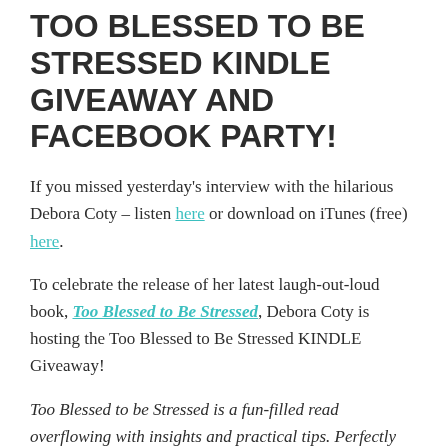TOO BLESSED TO BE STRESSED KINDLE GIVEAWAY AND FACEBOOK PARTY!
If you missed yesterday's interview with the hilarious Debora Coty – listen here or download on iTunes (free) here.
To celebrate the release of her latest laugh-out-loud book, Too Blessed to Be Stressed, Debora Coty is hosting the Too Blessed to Be Stressed KINDLE Giveaway!
Too Blessed to be Stressed is a fun-filled read overflowing with insights and practical tips. Perfectly delicious for living